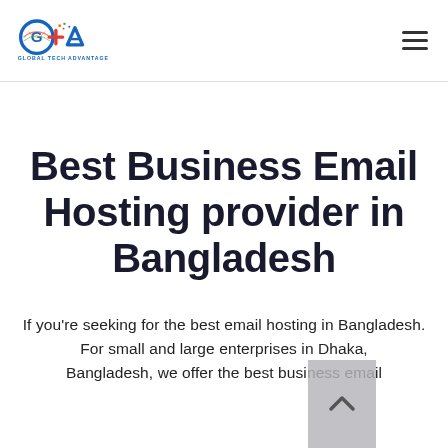Global Tech Advantage — site header with logo and hamburger menu
Best Business Email Hosting provider in Bangladesh
If you're seeking for the best email hosting in Bangladesh.
For small and large enterprises in Dhaka, Bangladesh, we offer the best business email